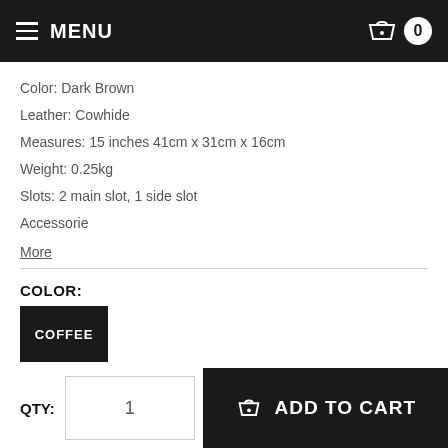MENU | 0
Color: Dark Brown
Leather: Cowhide
Measures: 15 inches 41cm x 31cm x 16cm
Weight: 0.25kg
Slots: 2 main slot, 1 side slot
Accessorie
More
COLOR:
COFFEE
QTY: 1 ADD TO CART